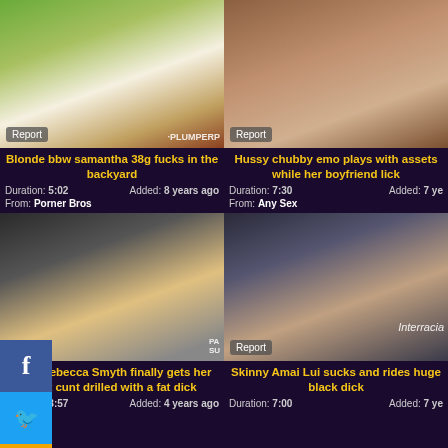[Figure (photo): Thumbnail of blonde BBW woman outdoors with male companion]
Blonde bbw samantha 38g fucks in the backyard
Duration: 5:02   Added: 8 years ago   From: Porner Bros
[Figure (photo): Thumbnail of dark-haired tattooed woman on brown couch]
Hussy chubby emo plays with assets while her boyfriend lick
Duration: 7:30   Added: 7 years ago   From: Any Sex
[Figure (photo): Thumbnail of blonde woman in black outfit]
Cute Rebecca Smyth finally gets her tight cunt drilled with a fat dick
Duration: 8:57   Added: 4 years ago
[Figure (photo): Thumbnail of Asian woman with dark background]
Skinny Amai Lui sucks and rides huge black dick
Duration: 7:00   Added: 7 years ago